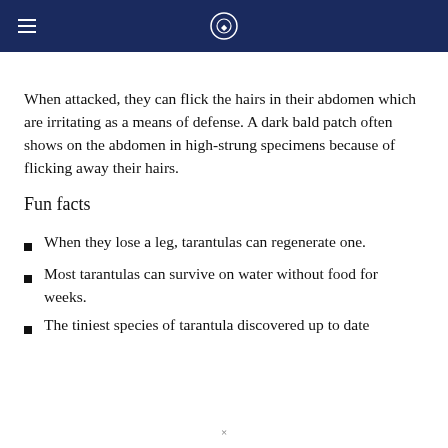When attacked, they can flick the hairs in their abdomen which are irritating as a means of defense. A dark bald patch often shows on the abdomen in high-strung specimens because of flicking away their hairs.
Fun facts
When they lose a leg, tarantulas can regenerate one.
Most tarantulas can survive on water without food for weeks.
The tiniest species of tarantula discovered up to date